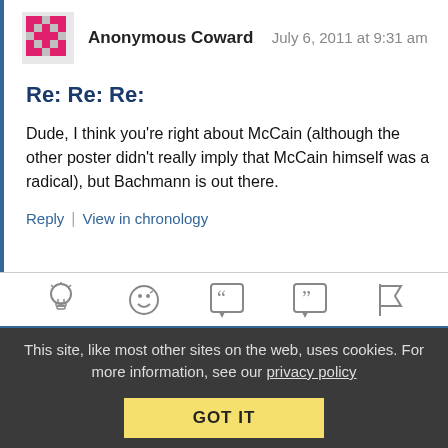[Figure (illustration): Pink/magenta pixel-art style avatar icon for Anonymous Coward]
Anonymous Coward   July 6, 2011 at 9:31 am
Re: Re: Re:
Dude, I think you're right about McCain (although the other poster didn't really imply that McCain himself was a radical), but Bachmann is out there.
Reply | View in chronology
[Figure (other): Row of action icons: lightbulb, smiley face, open quote, close quote, flag]
This site, like most other sites on the web, uses cookies. For more information, see our privacy policy
GOT IT